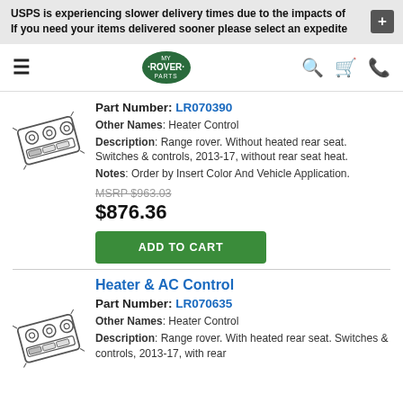USPS is experiencing slower delivery times due to the impacts of
If you need your items delivered sooner please select an expedite
[Figure (logo): My Rover Parts logo — green oval with text]
Part Number: LR070390
Other Names: Heater Control
Description: Range rover. Without heated rear seat. Switches & controls, 2013-17, without rear seat heat.
Notes: Order by Insert Color And Vehicle Application.
MSRP $963.03
$876.36
ADD TO CART
Heater & AC Control
Part Number: LR070635
Other Names: Heater Control
Description: Range rover. With heated rear seat. Switches & controls, 2013-17, with rear